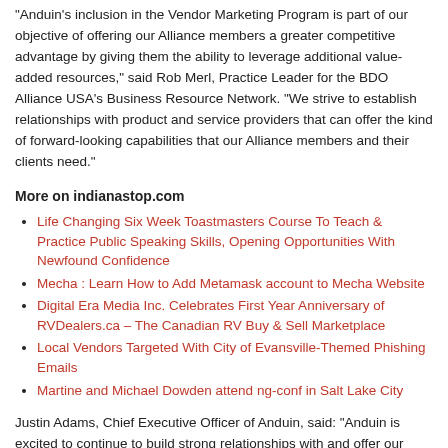"Anduin's inclusion in the Vendor Marketing Program is part of our objective of offering our Alliance members a greater competitive advantage by giving them the ability to leverage additional value-added resources," said Rob Merl, Practice Leader for the BDO Alliance USA's Business Resource Network. "We strive to establish relationships with product and service providers that can offer the kind of forward-looking capabilities that our Alliance members and their clients need."
More on indianastop.com
Life Changing Six Week Toastmasters Course To Teach & Practice Public Speaking Skills, Opening Opportunities With Newfound Confidence
Mecha : Learn How to Add Metamask account to Mecha Website
Digital Era Media Inc. Celebrates First Year Anniversary of RVDealers.ca – The Canadian RV Buy & Sell Marketplace
Local Vendors Targeted With City of Evansville-Themed Phishing Emails
Martine and Michael Dowden attend ng-conf in Salt Lake City
Justin Adams, Chief Executive Officer of Anduin, said: "Anduin is excited to continue to build strong relationships with and offer our solutions to BDO Alliance firms. We looked for an association with the singular combination